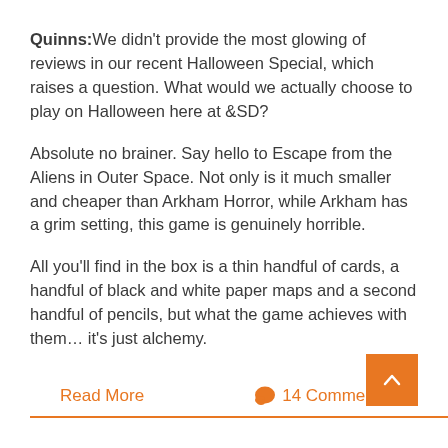Quinns: We didn't provide the most glowing of reviews in our recent Halloween Special, which raises a question. What would we actually choose to play on Halloween here at &SD?
Absolute no brainer. Say hello to Escape from the Aliens in Outer Space. Not only is it much smaller and cheaper than Arkham Horror, while Arkham has a grim setting, this game is genuinely horrible.
All you'll find in the box is a thin handful of cards, a handful of black and white paper maps and a second handful of pencils, but what the game achieves with them... it's just alchemy.
Read More
14 Comments